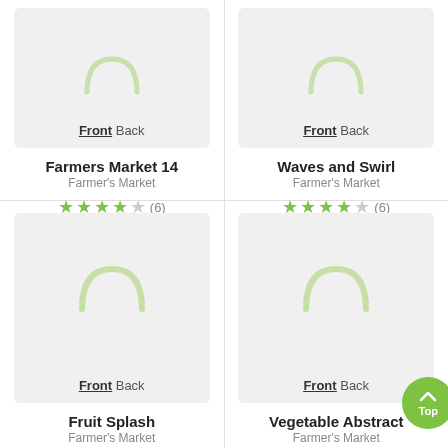[Figure (screenshot): Card image placeholder for Farmers Market 14 with Front/Back toggle]
Front Back
Farmers Market 14
Farmer's Market
★★★★☆ (6)
[Figure (screenshot): Card image placeholder for Waves and Swirl with Front/Back toggle]
Front Back
Waves and Swirl
Farmer's Market
★★★★☆ (6)
[Figure (screenshot): Card image placeholder for Fruit Splash with loading spinner and Front/Back toggle]
Front Back
Fruit Splash
Farmer's Market
[Figure (screenshot): Card image placeholder for Vegetable Abstract with loading spinner and Front/Back toggle]
Front Back
Vegetable Abstract
Farmer's Market